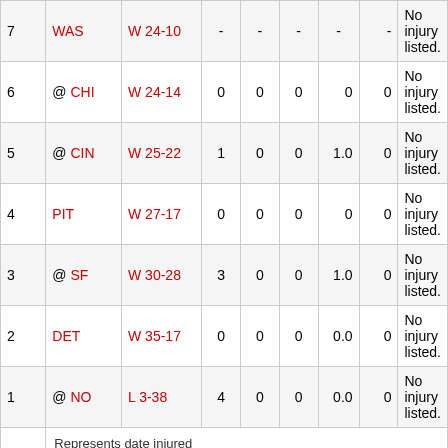| Wk | Team | Result | - | - | - | - | - | Notes |
| --- | --- | --- | --- | --- | --- | --- | --- | --- |
| 7 | WAS | W 24-10 | - | - | - | - | - | No injury listed. |
| 6 | @ CHI | W 24-14 | 0 | 0 | 0 | 0 | 0 | No injury listed. |
| 5 | @ CIN | W 25-22 | 1 | 0 | 0 | 1.0 | 0 | No injury listed. |
| 4 | PIT | W 27-17 | 0 | 0 | 0 | 0 | 0 | No injury listed. |
| 3 | @ SF | W 30-28 | 3 | 0 | 0 | 1.0 | 0 | No injury listed. |
| 2 | DET | W 35-17 | 0 | 0 | 0 | 0.0 | 0 | No injury listed. |
| 1 | @ NO | L 3-38 | 4 | 0 | 0 | 0.0 | 0 | No injury listed. |
Represents date injured
Defence
| Year | Team | G | GS | Int | Sck | Tk | FR | FF | PDef |
| --- | --- | --- | --- | --- | --- | --- | --- | --- | --- |
| 2015-2016 | WAS | 16 | 1 | 0 | 8.0 | 24 | 1 | 3 | 4 |
| 2016-2017 | WAS | 16 | 16 | 1 | 4.5 | 22 | 0 | 0 | 3 |